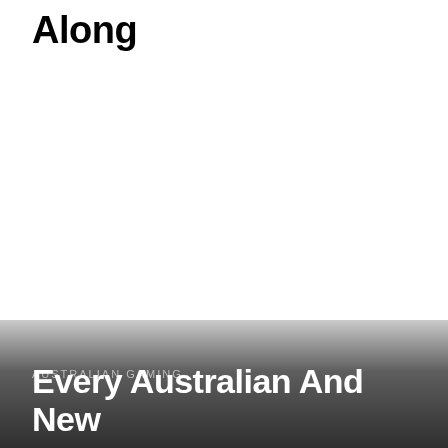Along
AUSTRALIAN GAMING
Every Australian And New